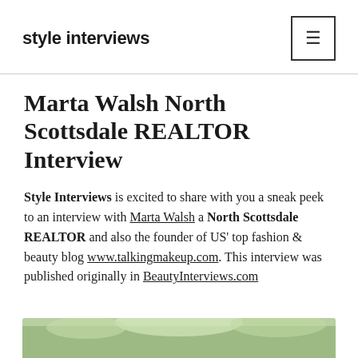style interviews
Marta Walsh North Scottsdale REALTOR Interview
Style Interviews is excited to share with you a sneak peek to an interview with Marta Walsh a North Scottsdale REALTOR and also the founder of US' top fashion & beauty blog www.talkingmakeup.com. This interview was published originally in BeautyInterviews.com
[Figure (photo): Partial photo of Marta Walsh outdoors with greenery in background, cropped at bottom of page]